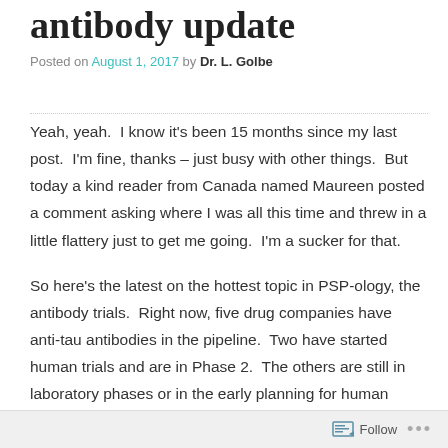antibody update
Posted on August 1, 2017 by Dr. L. Golbe
Yeah, yeah.  I know it’s been 15 months since my last post.  I’m fine, thanks – just busy with other things.  But today a kind reader from Canada named Maureen posted a comment asking where I was all this time and threw in a little flattery just to get me going.  I’m a sucker for that.
So here’s the latest on the hottest topic in PSP-ology, the antibody trials.  Right now, five drug companies have anti-tau antibodies in the pipeline.  Two have started human trials and are in Phase 2.  The others are still in laboratory phases or in the early planning for human trials.  As a reminder, these antibodies are directed at the tau protein